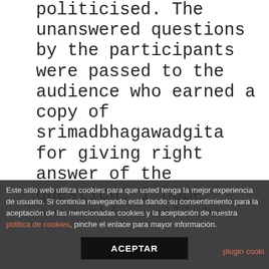politicised. The unanswered questions by the participants were passed to the audience who earned a copy of srimadbhagawadgita for giving right answer of the question. I hope everything will be getting better soon and pray for everyone there safety. God bless ginger baker incredible musician wild and inventive. It is one of the few non-american carriers to have steam catapults to assist in takeoffs and arrestor wires to aid landings. It offers excellent protection from the elements, and it's woodland camouflage colors keep you out of sight long enough to line up the kill, be it beast or man This was assessed in a sentence completion study
Este sitio web utiliza cookies para que usted tenga la mejor experiencia de usuario. Si continúa navegando está dando su consentimiento para la aceptación de las mencionadas cookies y la aceptación de nuestra politica de cookies, pinche el enlace para mayor información.